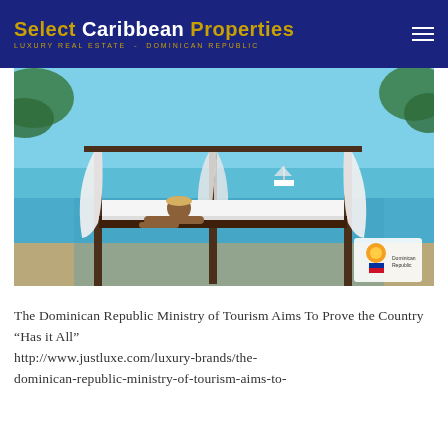Select Caribbean Properties LUXURY REAL ESTATE - DOMINICAN REPUBLIC
[Figure (photo): Beach scene with a canopy bed on the shore, white drapes blowing in the breeze, a woman relaxing on the bed, turquoise Caribbean sea and sky in background, Dominican Republic tourism logo in lower right corner]
The Dominican Republic Ministry of Tourism Aims To Prove the Country “Has it All” http://www.justluxe.com/luxury-brands/the-dominican-republic-ministry-of-tourism-aims-to-